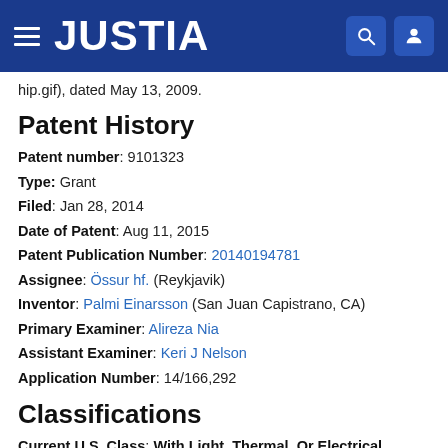JUSTIA
hip.gif), dated May 13, 2009.
Patent History
Patent number: 9101323
Type: Grant
Filed: Jan 28, 2014
Date of Patent: Aug 11, 2015
Patent Publication Number: 20140194781
Assignee: Össur hf. (Reykjavik)
Inventor: Palmi Einarsson (San Juan Capistrano, CA)
Primary Examiner: Alireza Nia
Assistant Examiner: Keri J Nelson
Application Number: 14/166,292
Classifications
Current U.S. Class: With Light, Thermal, Or Electrical Application (602/2)